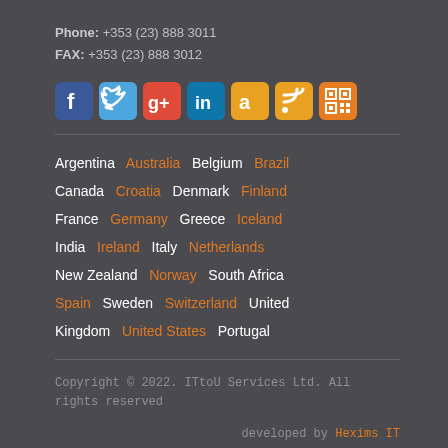Phone: +353 (23) 888 3011
FAX: +353 (23) 888 3012
[Figure (infographic): Row of 7 social media icon buttons: Facebook (blue), Twitter (light blue), Google+ (red), LinkedIn (dark blue), Amazon (orange), RSS (orange), QR code (dark orange)]
Argentina  Australia  Belgium  Brazil  Canada  Croatia  Denmark  Finland  France  Germany  Greece  Iceland  India  Ireland  Italy  Netherlands  New Zealand  Norway  South Africa  Spain  Sweden  Switzerland  United Kingdom  United States  Portugal
Copyright © 2022. ITtoU Services Ltd. All rights reserved
developed by Hexims IT